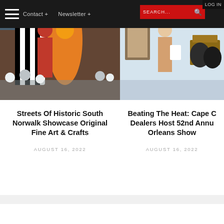Contact + | Newsletter + | SEARCH... | LOG IN
[Figure (photo): Street scene with colorful costumed performers in orange and black and white zebra-patterned costumes in an outdoor market setting]
Streets Of Historic South Norwalk Showcase Original Fine Art & Crafts
AUGUST 16, 2022
[Figure (photo): Art fair or antique show scene with a person in light clothing near displayed artworks and furniture]
Beating The Heat: Cape C Dealers Host 52nd Annu Orleans Show
AUGUST 16, 2022